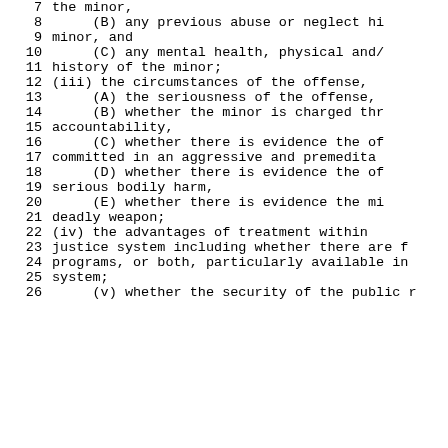7      the minor,
8          (B) any previous abuse or neglect hi
9      minor, and
10         (C) any mental health, physical and/
11     history of the minor;
12     (iii) the circumstances of the offense,
13         (A) the seriousness of the offense,
14         (B) whether the minor is charged thr
15     accountability,
16         (C) whether there is evidence the of
17     committed in an aggressive and premedita
18         (D) whether there is evidence the of
19     serious bodily harm,
20         (E) whether there is evidence the mi
21     deadly weapon;
22     (iv) the advantages of treatment within
23     justice system including whether there are f
24     programs, or both, particularly available in
25     system;
26         (v) whether the security of the public r